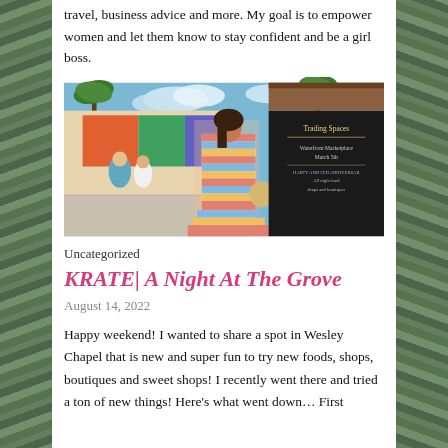travel, business advice and more. My goal is to empower women and let them know to stay confident and be a girl boss.
[Figure (photo): Woman in colorful striped tiered dress at an outdoor market with palm trees and a chalkboard sign for a business in the background.]
Uncategorized
KRATE| A Night At The Grove
August 14, 2022
Happy weekend! I wanted to share a spot in Wesley Chapel that is new and super fun to try new foods, shops, boutiques and sweet shops! I recently went there and tried a ton of new things! Here's what went down… First